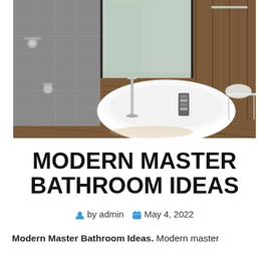[Figure (photo): Modern master bathroom with a large freestanding white oval bathtub on striped wood flooring, a chrome floor-mount faucet, gray tile shower area with wall-mounted fixtures, wood panel wall, and large glass windows/doors in the background.]
MODERN MASTER BATHROOM IDEAS
by admin   May 4, 2022
Modern Master Bathroom Ideas. Modern master